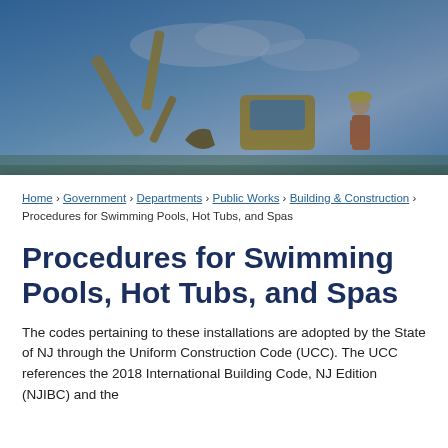[Figure (photo): Construction site hero image showing an excavator and worker in orange safety vest against a blue sky, with a dark blue overlay tint.]
Home › Government › Departments › Public Works › Building & Construction › Procedures for Swimming Pools, Hot Tubs, and Spas
Procedures for Swimming Pools, Hot Tubs, and Spas
The codes pertaining to these installations are adopted by the State of NJ through the Uniform Construction Code (UCC). The UCC references the 2018 International Building Code, NJ Edition (NJIBC) and the